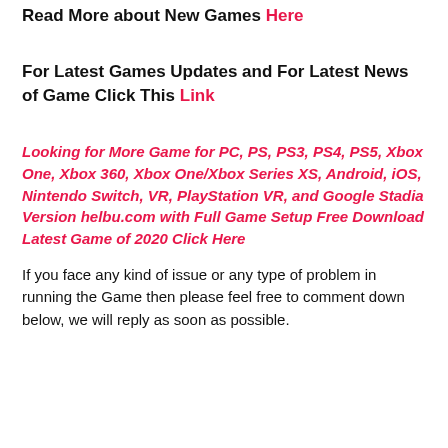Read More about New Games Here
For Latest Games Updates and For Latest News of Game Click This Link
Looking for More Game for PC, PS, PS3, PS4, PS5, Xbox One, Xbox 360, Xbox One/Xbox Series XS, Android, iOS, Nintendo Switch, VR, PlayStation VR, and Google Stadia Version helbu.com with Full Game Setup Free Download Latest Game of 2020 Click Here
If you face any kind of issue or any type of problem in running the Game then please feel free to comment down below, we will reply as soon as possible.